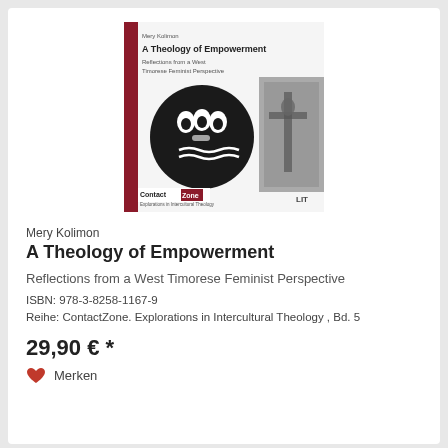[Figure (illustration): Book cover of 'A Theology of Empowerment' by Mery Kolimon. White cover with a dark red vertical stripe on the left, black circular face/mask illustration, partial image of a crucifix on the right, ContactZone series label at bottom left, LIT publisher logo at bottom right.]
Mery Kolimon
A Theology of Empowerment
Reflections from a West Timorese Feminist Perspective
ISBN: 978-3-8258-1167-9
Reihe: ContactZone. Explorations in Intercultural Theology , Bd. 5
29,90 € *
Merken